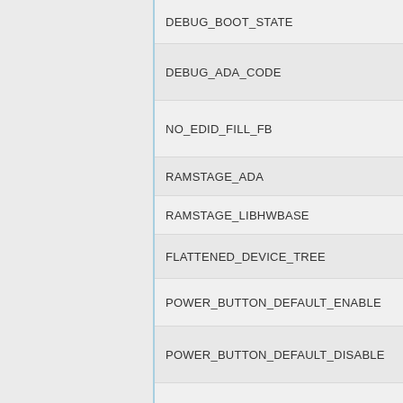DEBUG_BOOT_STATE
DEBUG_ADA_CODE
NO_EDID_FILL_FB
RAMSTAGE_ADA
RAMSTAGE_LIBHWBASE
FLATTENED_DEVICE_TREE
POWER_BUTTON_DEFAULT_ENABLE
POWER_BUTTON_DEFAULT_DISABLE
POWER_BUTTON_FORCE_ENABLE